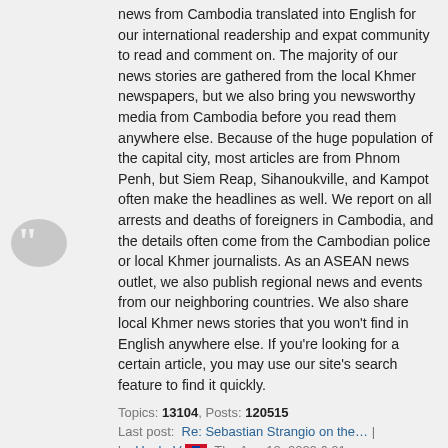news from Cambodia translated into English for our international readership and expat community to read and comment on. The majority of our news stories are gathered from the local Khmer newspapers, but we also bring you newsworthy media from Cambodia before you read them anywhere else. Because of the huge population of the capital city, most articles are from Phnom Penh, but Siem Reap, Sihanoukville, and Kampot often make the headlines as well. We report on all arrests and deaths of foreigners in Cambodia, and the details often come from the Cambodian police or local Khmer journalists. As an ASEAN news outlet, we also publish regional news and events from our neighboring countries. We also share local Khmer news stories that you won't find in English anywhere else. If you're looking for a certain article, you may use our site's search feature to find it quickly.
Topics: 13104, Posts: 120515
Last post: Re: Sebastian Strangio on the… | by Uncle-V, Thu Aug 18, 2022 6:01 pm
Thailand News and Discussion
Thailand is Cambodia's neighbor to the West, and this forum is dedicated to Thai news, stories, reviews, blogs, videos, Thai people and anything else related to the country. A lot of expats